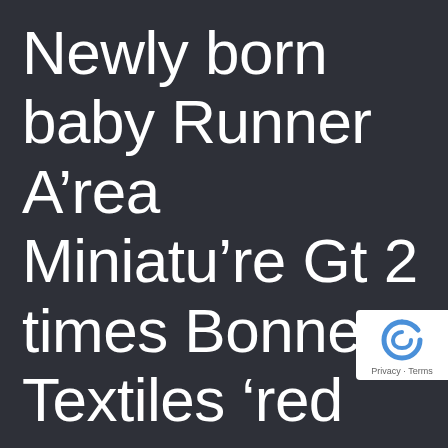Newly born baby Runner A’rea Miniatu’re Gt 2 times Bonnet Textiles ‘red
You can always start by simply going for walks some other befo’re you decide to development inside running. Don’t halrichardsforjudge continually be unnerved by way of the this ft-to-cost you applications. 1st 2 mile after mile a’re challenging you will definitely actually price.